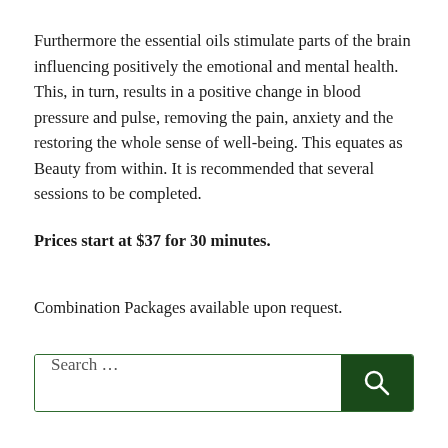Furthermore the essential oils stimulate parts of the brain influencing positively the emotional and mental health. This, in turn, results in a positive change in blood pressure and pulse, removing the pain, anxiety and the restoring the whole sense of well-being. This equates as Beauty from within. It is recommended that several sessions to be completed.
Prices start at $37 for 30 minutes.
Combination Packages available upon request.
Search ...